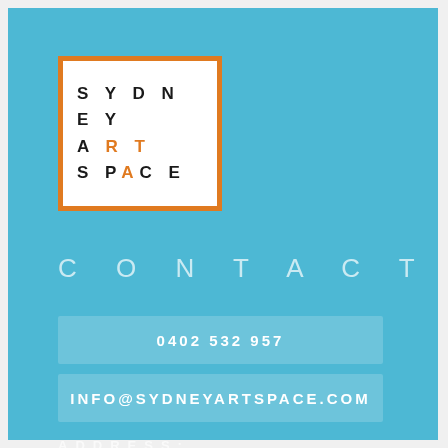[Figure (logo): Sydney Art Space logo: white square with orange border, bold spaced letters SYDNEY / A R T / S P A C E with some letters in orange]
CONTACT
0402 532 957
INFO@SYDNEYARTSPACE.COM
ADDRESS: